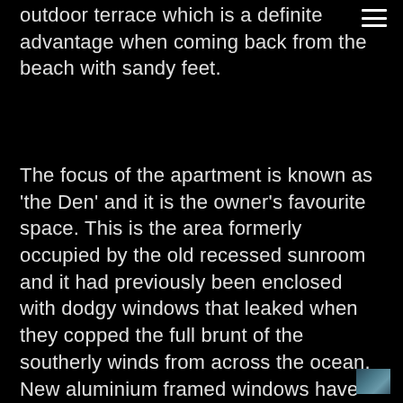outdoor terrace which is a definite advantage when coming back from the beach with sandy feet.
The focus of the apartment is known as 'the Den' and it is the owner's favourite space. This is the area formerly occupied by the old recessed sunroom and it had previously been enclosed with dodgy windows that leaked when they copped the full brunt of the southerly winds from across the ocean. New aluminium framed windows have been installed and the glass is self-cleaning, a necessity for this high-salt environment.  As it had previously been an external room there